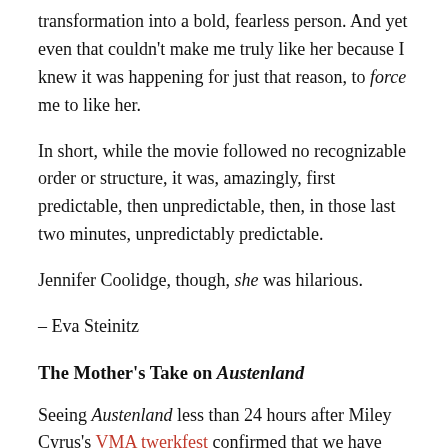transformation into a bold, fearless person. And yet even that couldn't make me truly like her because I knew it was happening for just that reason, to force me to like her.
In short, while the movie followed no recognizable order or structure, it was, amazingly, first predictable, then unpredictable, then, in those last two minutes, unpredictably predictable.
Jennifer Coolidge, though, she was hilarious.
– Eva Steinitz
The Mother's Take on Austenland
Seeing Austenland less than 24 hours after Miley Cyrus's VMA twerkfest confirmed that we have long since reached the far end of the line for pop culture as self-conscious, pseudo-ironic, meta-cultural commentary. But at least Austenland was mildly entertaining.